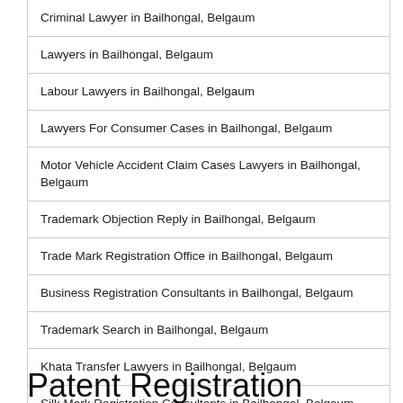Criminal Lawyer in Bailhongal, Belgaum
Lawyers in Bailhongal, Belgaum
Labour Lawyers in Bailhongal, Belgaum
Lawyers For Consumer Cases in Bailhongal, Belgaum
Motor Vehicle Accident Claim Cases Lawyers in Bailhongal, Belgaum
Trademark Objection Reply in Bailhongal, Belgaum
Trade Mark Registration Office in Bailhongal, Belgaum
Business Registration Consultants in Bailhongal, Belgaum
Trademark Search in Bailhongal, Belgaum
Khata Transfer Lawyers in Bailhongal, Belgaum
Silk Mark Registration Consultants in Bailhongal, Belgaum
Patent Registration